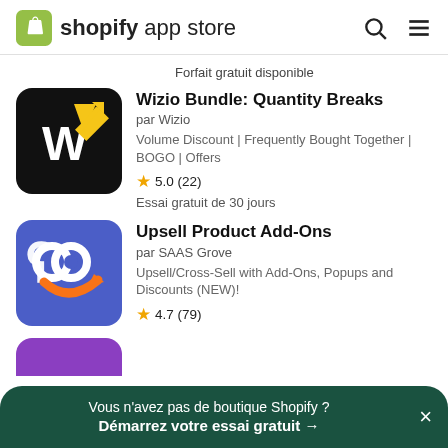[Figure (logo): Shopify App Store logo with green shopping bag icon and text 'shopify app store']
Forfait gratuit disponible
[Figure (logo): Wizio app icon: black square with white W and yellow upward arrow]
Wizio Bundle: Quantity Breaks
par Wizio
Volume Discount | Frequently Bought Together | BOGO | Offers
★ 5.0 (22)
Essai gratuit de 30 jours
[Figure (logo): Upsell Product Add-Ons app icon: blue square with two C shapes and orange arrow]
Upsell Product Add-Ons
par SAAS Grove
Upsell/Cross-Sell with Add-Ons, Popups and Discounts (NEW)!
★ 4.7 (79)
Vous n'avez pas de boutique Shopify ? Démarrez votre essai gratuit →